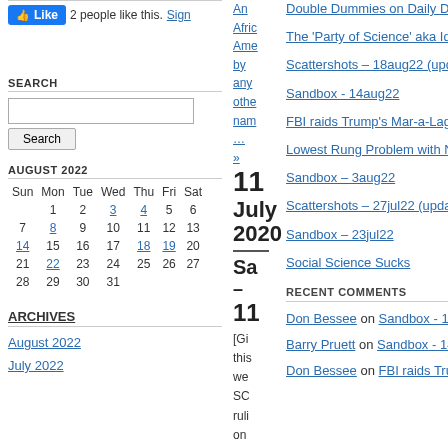[Figure (other): Facebook Like button with '2 people like this. Sign' text]
SEARCH
Search input box and Search button
AUGUST 2022
| Sun | Mon | Tue | Wed | Thu | Fri | Sat |
| --- | --- | --- | --- | --- | --- | --- |
|  | 1 | 2 | 3 | 4 | 5 | 6 |
| 7 | 8 | 9 | 10 | 11 | 12 | 13 |
| 14 | 15 | 16 | 17 | 18 | 19 | 20 |
| 21 | 22 | 23 | 24 | 25 | 26 | 27 |
| 28 | 29 | 30 | 31 |  |  |  |
ARCHIVES
August 2022
July 2022
An
Afric
Ame
by
any
othe
nam
...
»
11
July
2020
Sa
–
11
[Gi
this
we
SC
ruli
on
Double Dummies on Daily Display
The 'Party of Science' aka Idiot's Delight (Addended)
Scattershots – 18aug22 (update 21aug22)
Sandbox - 14aug22
FBI raids Trump's Mar-a-Lago Residence
Lowest Rung Problem with No Good Solutions
Sandbox – 3aug22
Scattershots – 27jul22 (updated 31jul22)
Sandbox – 23jul22
Social Science Sucks
RECENT COMMENTS
Don Bessee on Sandbox - 14aug22
Barry Pruett on Sandbox - 14aug22
Don Bessee on FBI raids Trump's Mar-a-Lago Residence